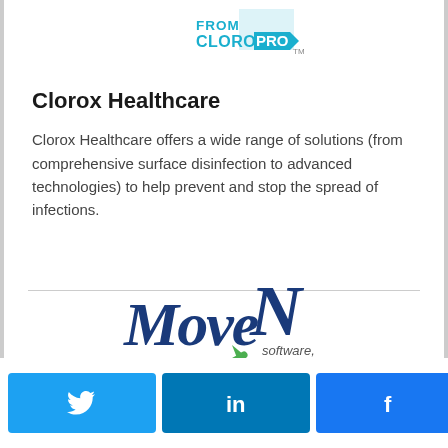[Figure (logo): FROM CLOROXPRO TM logo — cyan/white text with blue arrow shape]
Clorox Healthcare
Clorox Healthcare offers a wide range of solutions (from comprehensive surface disinfection to advanced technologies) to help prevent and stop the spread of infections.
[Figure (logo): MoveN software, inc. logo — dark blue italic text with green swoosh arrow]
Twitter share button | LinkedIn share button | Facebook share button | 0 SHARES